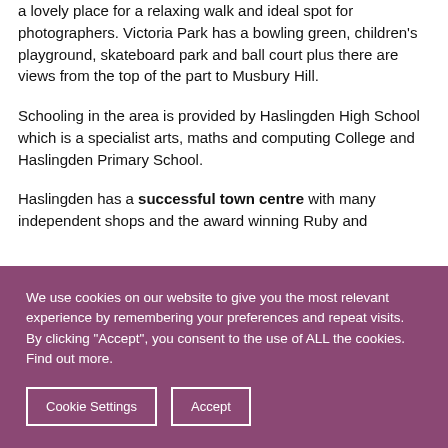a lovely place for a relaxing walk and ideal spot for photographers. Victoria Park has a bowling green, children's playground, skateboard park and ball court plus there are views from the top of the part to Musbury Hill.
Schooling in the area is provided by Haslingden High School which is a specialist arts, maths and computing College and Haslingden Primary School.
Haslingden has a successful town centre with many independent shops and the award winning Ruby and
We use cookies on our website to give you the most relevant experience by remembering your preferences and repeat visits. By clicking "Accept", you consent to the use of ALL the cookies. Find out more.
Cookie Settings
Accept